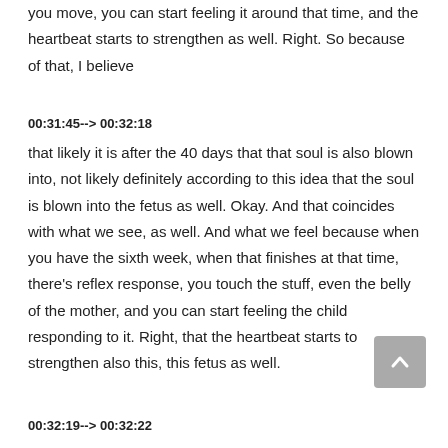you move, you can start feeling it around that time, and the heartbeat starts to strengthen as well. Right. So because of that, I believe
00:31:45--> 00:32:18
that likely it is after the 40 days that that soul is also blown into, not likely definitely according to this idea that the soul is blown into the fetus as well. Okay. And that coincides with what we see, as well. And what we feel because when you have the sixth week, when that finishes at that time, there's reflex response, you touch the stuff, even the belly of the mother, and you can start feeling the child responding to it. Right, that the heartbeat starts to strengthen also this, this fetus as well.
00:32:19--> 00:32:22